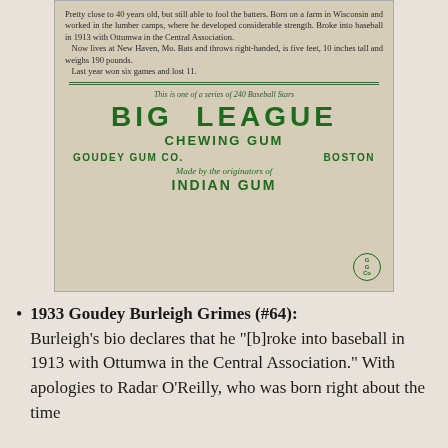[Figure (photo): Back of a 1933 Goudey Big League Chewing Gum baseball card for Burleigh Grimes (#64), showing biographical text and brand advertising for Big League Chewing Gum by Goudey Gum Co., Boston, made by the originators of Indian Gum.]
1933 Goudey Burleigh Grimes (#64): Burleigh's bio declares that he "[b]roke into baseball in 1913 with Ottumwa in the Central Association." With apologies to Radar O'Reilly, who was born right about the time